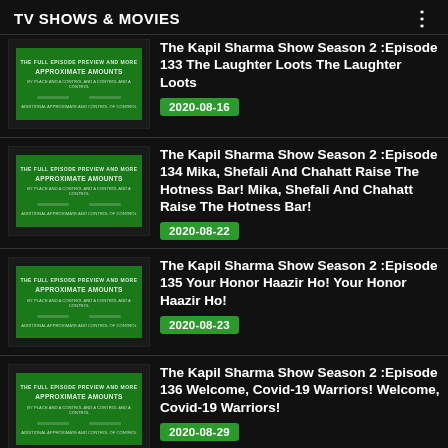TV SHOWS & MOVIES
[Figure (screenshot): Thumbnail for The Kapil Sharma Show Season 2 Episode 133]
The Kapil Sharma Show Season 2 :Episode 133 The Laughter Loots The Laughter Loots
2020-08-16
[Figure (screenshot): Thumbnail for The Kapil Sharma Show Season 2 Episode 134]
The Kapil Sharma Show Season 2 :Episode 134 Mika, Shefali And Chahatt Raise The Hotness Bar! Mika, Shefali And Chahatt Raise The Hotness Bar!
2020-08-22
[Figure (screenshot): Thumbnail for The Kapil Sharma Show Season 2 Episode 135]
The Kapil Sharma Show Season 2 :Episode 135 Your Honor Haazir Ho! Your Honor Haazir Ho!
2020-08-23
[Figure (screenshot): Thumbnail for The Kapil Sharma Show Season 2 Episode 136]
The Kapil Sharma Show Season 2 :Episode 136 Welcome, Covid-19 Warriors! Welcome, Covid-19 Warriors!
2020-08-29
The Kapil Sharma Show Season 2 :Episo...